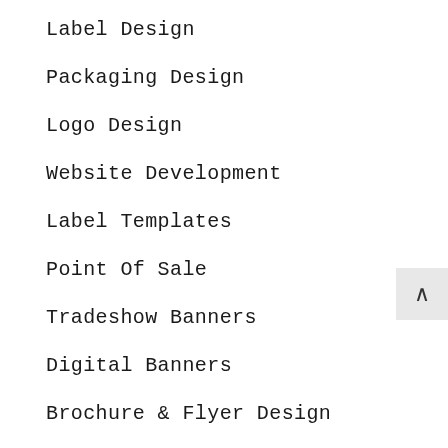Label Design
Packaging Design
Logo Design
Website Development
Label Templates
Point Of Sale
Tradeshow Banners
Digital Banners
Brochure & Flyer Design
Vehicle Decals